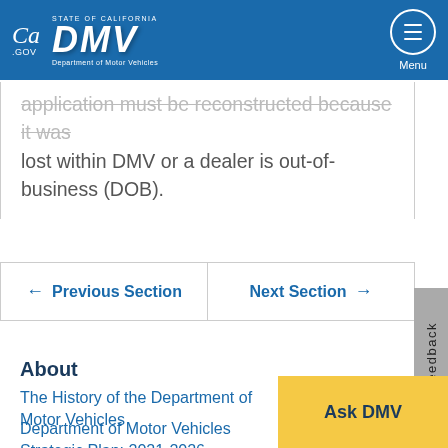[Figure (logo): California DMV website header with CA.gov logo, DMV logo (State of California, Department of Motor Vehicles), and Menu button]
application must be reconstructed because it was lost within DMV or a dealer is out-of-business (DOB).
← Previous Section   Next Section →
Feedback
About
The History of the Department of Motor Vehicles
Department of Motor Vehicles Strategic Plan: 2021-2026
Ask DMV